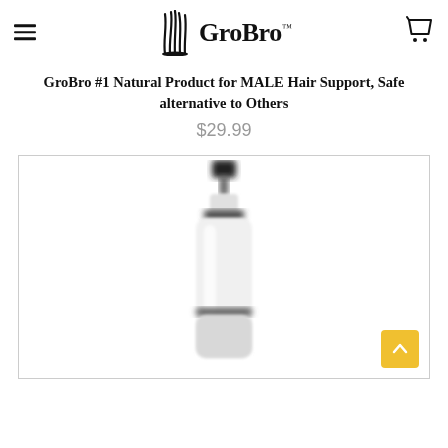GroBro (logo with hamburger menu and cart icon)
GroBro #1 Natural Product for MALE Hair Support, Safe alternative to Others
$29.99
[Figure (photo): White cylindrical spray bottle product photo with black pump top, shown vertically centered on white background, slightly blurred/out of focus.]